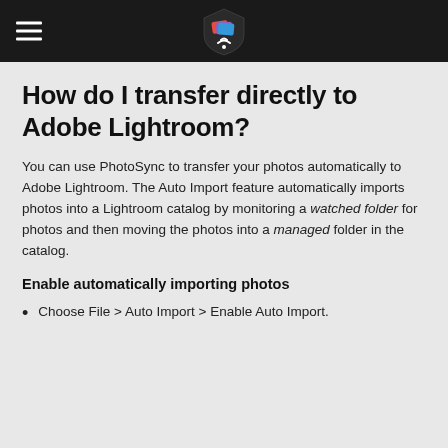[PhotoSync logo and hamburger menu]
How do I transfer directly to Adobe Lightroom?
You can use PhotoSync to transfer your photos automatically to Adobe Lightroom. The Auto Import feature automatically imports photos into a Lightroom catalog by monitoring a watched folder for photos and then moving the photos into a managed folder in the catalog.
Enable automatically importing photos
Choose File > Auto Import > Enable Auto Import.